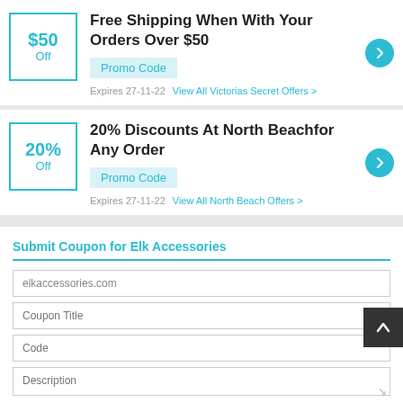Free Shipping When With Your Orders Over $50
Promo Code
Expires 27-11-22   View All Victorias Secret Offers >
20% Discounts At North Beachfor Any Order
Promo Code
Expires 27-11-22   View All North Beach Offers >
Submit Coupon for Elk Accessories
elkaccessories.com
Coupon Title
Code
Description